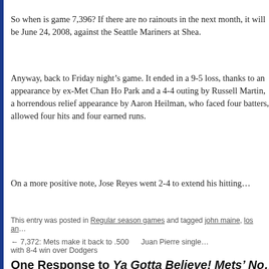So when is game 7,396? If there are no rainouts in the next month, it will be June 24, 2008, against the Seattle Mariners at Shea.
Anyway, back to Friday night’s game. It ended in a 9-5 loss, thanks to an appearance by ex-Met Chan Ho Park and a 4-4 outing by Russell Martin, a horrendous relief appearance by Aaron Heilman, who faced four batters, allowed four hits and four earned runs.
On a more positive note, Jose Reyes went 2-4 to extend his hitting…
This entry was posted in Regular season games and tagged john maine, los an…
← 7,372: Mets make it back to .500 with 8-4 win over Dodgers
Juan Pierre single…
One Response to Ya Gotta Believe! Mets’ No… 73-73